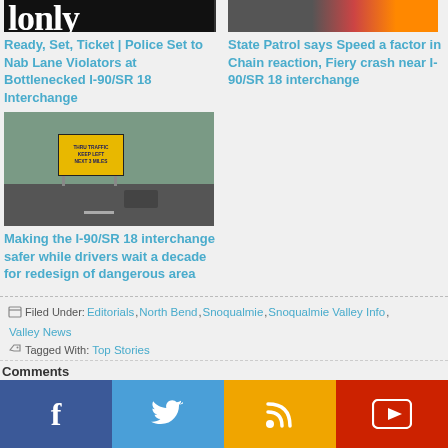[Figure (photo): Partial banner/logo image cropped at top, black background with large letters visible]
Ready, Set, Ticket | Police Set to Nab Lane Violators at Bottlenecked I-90/SR 18 Interchange
[Figure (photo): Photo of a fiery crash scene on a highway with emergency vehicles and fire visible]
State Patrol says Speed a factor in Chain reaction, Fiery crash near I-90/SR 18 interchange
[Figure (photo): Photo of a road sign reading THRU TRAFFIC KEEP LEFT NEXT 3 MILES with a truck in background]
Making the I-90/SR 18 interchange safer while drivers wait a decade for redesign of dangerous area
Filed Under: Editorials, North Bend, Snoqualmie, Snoqualmie Valley Info, Valley News  Tagged With: Top Stories
Comments